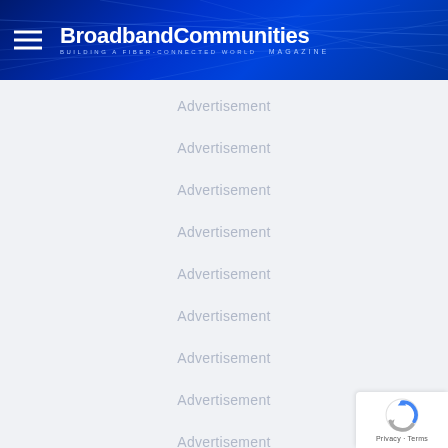BroadbandCommunities MAGAZINE BUILDING A FIBER-CONNECTED WORLD
Advertisement
Advertisement
Advertisement
Advertisement
Advertisement
Advertisement
Advertisement
Advertisement
Advertisement
Advertisement
[Figure (logo): reCAPTCHA badge with Privacy - Terms text]